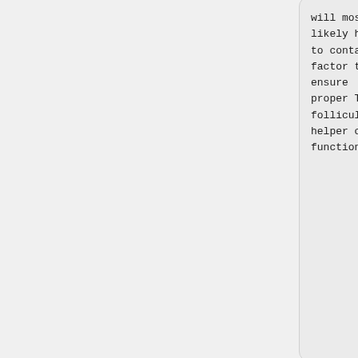will most likely have to contain a factor to ensure proper T follicular helper cell function.
will most likely have to contain a factor to ensure proper T follicular helper cell function.
While the precise mechanism by which Tfh cells regulate the differentiation of B cells at germinal